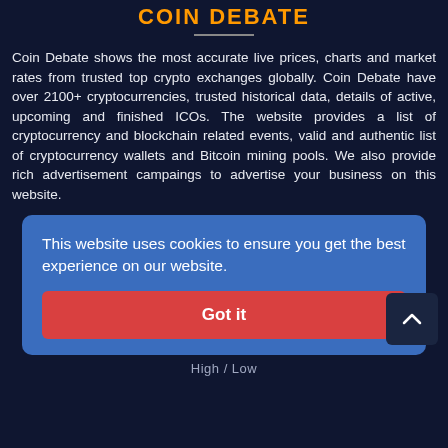COIN DEBATE
Coin Debate shows the most accurate live prices, charts and market rates from trusted top crypto exchanges globally. Coin Debate have over 2100+ cryptocurrencies, trusted historical data, details of active, upcoming and finished ICOs. The website provides a list of cryptocurrency and blockchain related events, valid and authentic list of cryptocurrency wallets and Bitcoin mining pools. We also provide rich advertisement campaings to advertise your business on this website.
This website uses cookies to ensure you get the best experience on our website.
Got it
High / Low